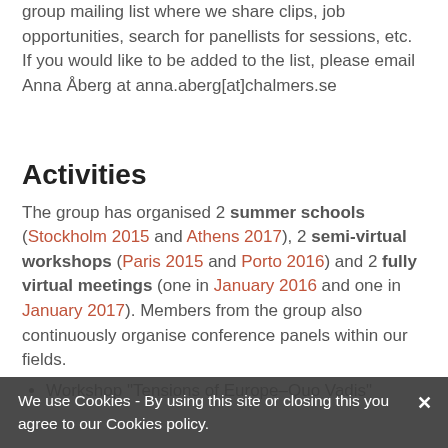group mailing list where we share clips, job opportunities, search for panellists for sessions, etc. If you would like to be added to the list, please email Anna Åberg at anna.aberg[at]chalmers.se
Activities
The group has organised 2 summer schools (Stockholm 2015 and Athens 2017), 2 semi-virtual workshops (Paris 2015 and Porto 2016) and 2 fully virtual meetings (one in January 2016 and one in January 2017). Members from the group also continuously organise conference panels within our fields.
Workshop "Tensions of Europe–Quo Vadis"
We use Cookies - By using this site or closing this you agree to our Cookies policy.